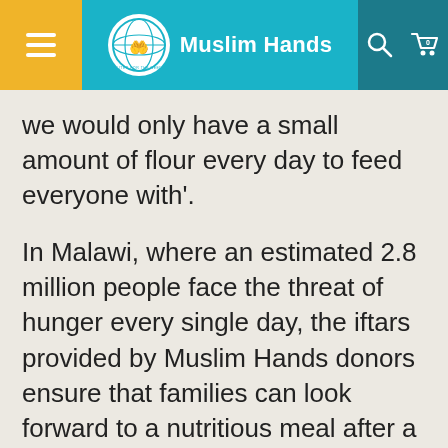Muslim Hands
we would only have a small amount of flour every day to feed everyone with'.
In Malawi, where an estimated 2.8 million people face the threat of hunger every single day, the iftars provided by Muslim Hands donors ensure that families can look forward to a nutritious meal after a long day of fasting. Aisha told our team, ‘Without the intervention of MH the community would find it very difficult to keep fasts. They would have to rely on what small amount of food they have or